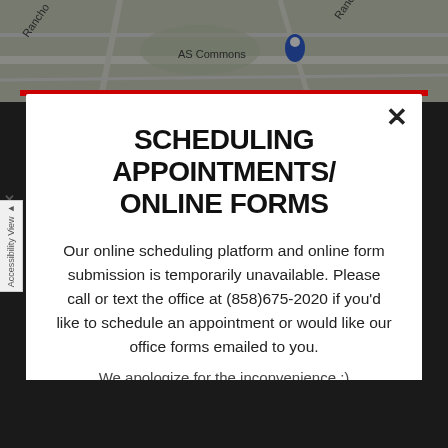[Figure (map): Street map background showing AS Commons area with a location pin marker]
SCHEDULING APPOINTMENTS/ ONLINE FORMS
Our online scheduling platform and online form submission is temporarily unavailable. Please call or text the office at (858)675-2020 if you'd like to schedule an appointment or would like our office forms emailed to you.
We apologize for the inconvenience :)
Close